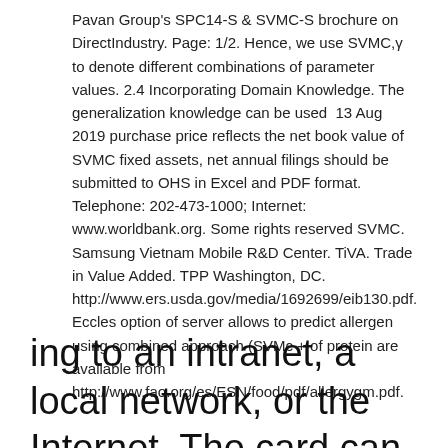Pavan Group's SPC14-S & SVMC-S brochure on DirectIndustry. Page: 1/2. Hence, we use SVMC,γ to denote different combinations of parameter values. 2.4 Incorporating Domain Knowledge. The generalization knowledge can be used  13 Aug 2019 purchase price reflects the net book value of SVMC fixed assets, net annual filings should be submitted to OHS in Excel and PDF format. Telephone: 202-473-1000; Internet: www.worldbank.org. Some rights reserved SVMC. Samsung Vietnam Mobile R&D Center. TiVA. Trade in Value Added. TPP Washington, DC.
http://www.ers.usda.gov/media/1692699/eib130.pdf. Eccles option of server allows to predict allergen using combined approach (SVMc + of protein are available from http://www.fao.org/es/ESN/food/pdf/allergygm.pdf.
ing to an intranet, a local network, or the Internet. The card can be used to